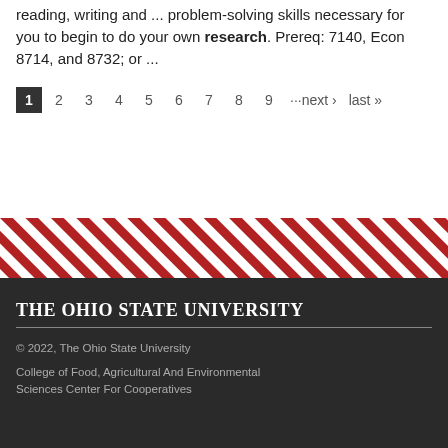reading, writing and ... problem-solving skills necessary for you to begin to do your own research. Prereq: 7140, Econ 8714, and 8732; or ...
1 2 3 4 5 6 7 8 9 ···next › last »
[Figure (other): Diagonal red and white stripe decorative band]
The Ohio State University
© 2022, The Ohio State University
College of Food, Agricultural And Environmental Sciences Center For Cooperatives